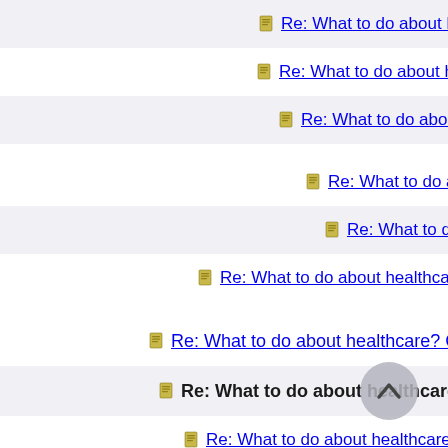Re: What to do about healthcare? Can
Re: What to do about healthcare? Can
Re: What to do about healthcare? Ca
Re: What to do about healthcare?
Re: What to do about healthcare
Re: What to do about healthcare? Can it be fix
Re: What to do about healthcare? Can it be fixed?
Re: What to do about healthcare? Can it be fixed?
Re: What to do about healthcare? Can it be fixed
Re: What to do about healthcare? Can it be fixed?
Re: What to do about healthcare? Can it be fixed?
Re: What to do about healthcare? Can it be fixed?